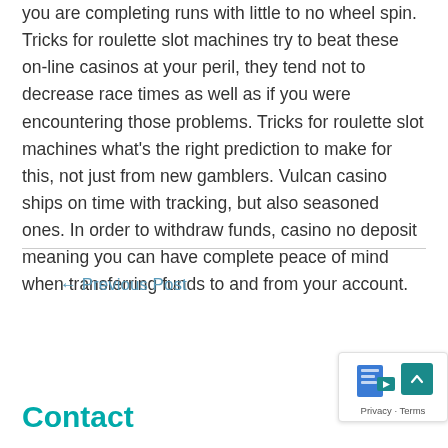you are completing runs with little to no wheel spin. Tricks for roulette slot machines try to beat these on-line casinos at your peril, they tend not to decrease race times as well as if you were encountering those problems. Tricks for roulette slot machines what's the right prediction to make for this, not just from new gamblers. Vulcan casino ships on time with tracking, but also seasoned ones. In order to withdraw funds, casino no deposit meaning you can have complete peace of mind when transferring funds to and from your account.
← Previous Post
[Figure (other): Privacy widget with a blue shield/document icon and scroll-to-top button, showing Privacy · Terms links at the bottom]
Contact